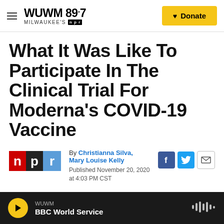WUWM 89.7 MILWAUKEE'S NPR | Donate
What It Was Like To Participate In The Clinical Trial For Moderna's COVID-19 Vaccine
By Christianna Silva, Mary Louise Kelly
Published November 20, 2020 at 4:03 PM CST
WUWM BBC World Service